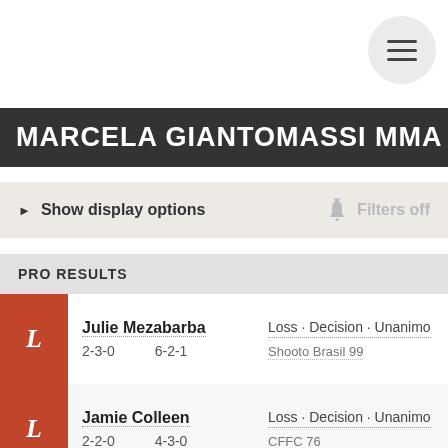MARCELA GIANTOMASSI MMA FIC
Show display options
Filters off
PRO RESULTS
| Result | Fighter | My Record | Opponent Record | Outcome | Event |
| --- | --- | --- | --- | --- | --- |
| L | Julie Mezabarba | 2-3-0 | 6-2-1 | Loss · Decision · Unanimous | Shooto Brasil 99 |
| L | Jamie Colleen | 2-2-0 | 4-3-0 | Loss · Decision · Unanimous | CFFC 76 |
| L | Julia Polastri | 2-1-0 | 3-2-0 | Loss · Decision · Unanimous | Shooto Brasil 89 |